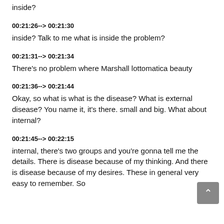inside?
00:21:26--> 00:21:30
inside? Talk to me what is inside the problem?
00:21:31--> 00:21:34
There's no problem where Marshall lottomatica beauty
00:21:36--> 00:21:44
Okay, so what is what is the disease? What is external disease? You name it, it's there. small and big. What about internal?
00:21:45--> 00:22:15
internal, there's two groups and you're gonna tell me the details. There is disease because of my thinking. And there is disease because of my desires. These in general very easy to remember. So